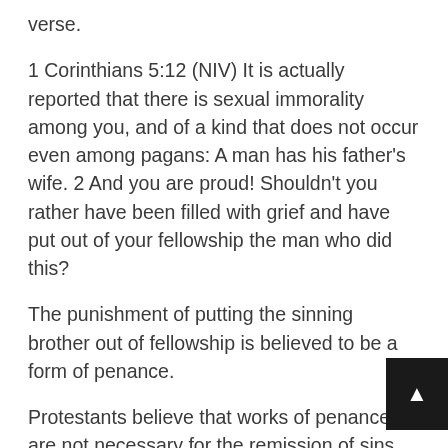verse.
1 Corinthians 5:12 (NIV) It is actually reported that there is sexual immorality among you, and of a kind that does not occur even among pagans: A man has his father’s wife. 2 And you are proud! Shouldn’t you rather have been filled with grief and have put out of your fellowship the man who did this?
The punishment of putting the sinning brother out of fellowship is believed to be a form of penance.
Protestants believe that works of penance are not necessary for the remission of sins. Nowhere does the Bible talk about works of penance as necessary for the forgiveness of sins. The above verses merely talk about church discipline to